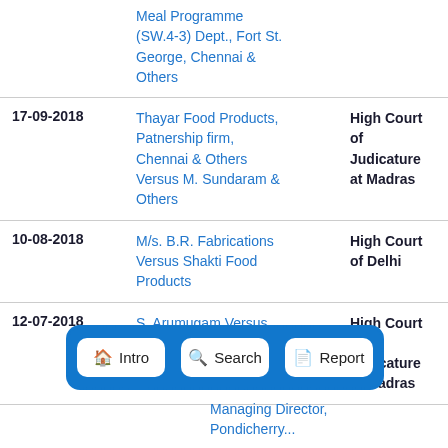| Date | Case | Court |
| --- | --- | --- |
|  | Meal Programme (SW.4-3) Dept., Fort St. George, Chennai & Others |  |
| 17-09-2018 | Thayar Food Products, Patnership firm, Chennai & Others Versus M. Sundaram & Others | High Court of Judicature at Madras |
| 10-08-2018 | M/s. B.R. Fabrications Versus Shakti Food Products | High Court of Delhi |
| 12-07-2018 | S. Arumugam Versus Pondicherry Agricultural Products... Managing Director, ... | High Court of Judicature at Madras |